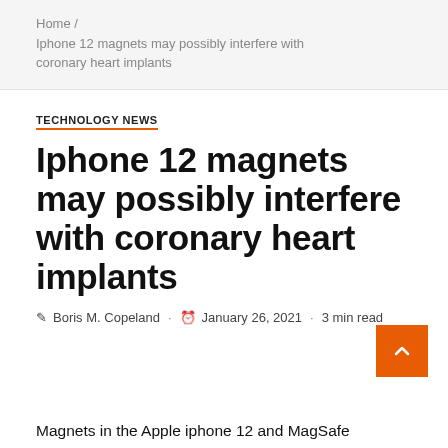Home / Iphone 12 magnets may possibly interfere with coronary heart implants
TECHNOLOGY NEWS
Iphone 12 magnets may possibly interfere with coronary heart implants
Boris M. Copeland · January 26, 2021 · 3 min read
Magnets in the Apple iphone 12 and MagSafe chargers could interfere with professional medical units in the